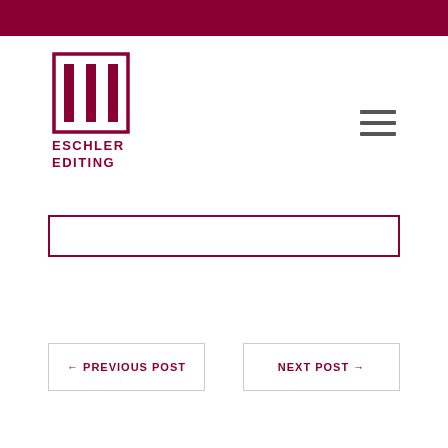[Figure (logo): Eschler Editing logo with stylized M/pillar icon in dark red and text 'ESCHLER EDITING' below]
[Figure (other): Hamburger menu icon (three horizontal lines) in dark gray]
[Figure (other): Search input box with dark red border]
← PREVIOUS POST
NEXT POST →